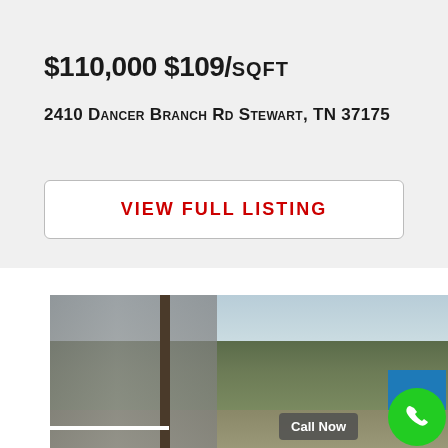$110,000 $109/SQFT
2410 Dancer Branch Rd Stewart, TN 37175
View Full Listing
[Figure (photo): Exterior photo of property at 2410 Dancer Branch Rd, showing a rural roadside scene with bare trees, a utility pole, and a road with white line markings. A 'Call Now' badge and phone button overlay are visible in the lower right.]